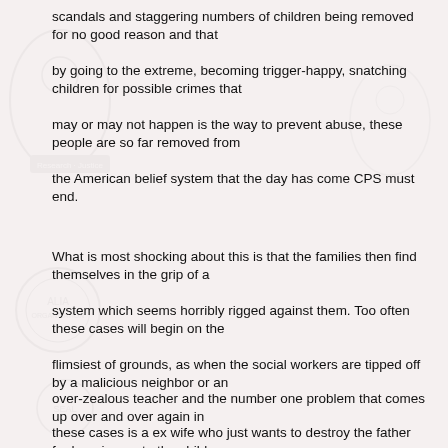scandals and staggering numbers of children being removed for no good reason and that
by going to the extreme, becoming trigger-happy, snatching children for possible crimes that
may or may not happen is the way to prevent abuse, these people are so far removed from
the American belief system that the day has come CPS must end.
What is most shocking about this is that the families then find themselves in the grip of a
system which seems horribly rigged against them. Too often these cases will begin on the
flimsiest of grounds, as when the social workers are tipped off by a malicious neighbor or an
over-zealous teacher and the number one problem that comes up over and over again in
these cases is a ex wife who just wants to destroy the father for hanging on to the children.